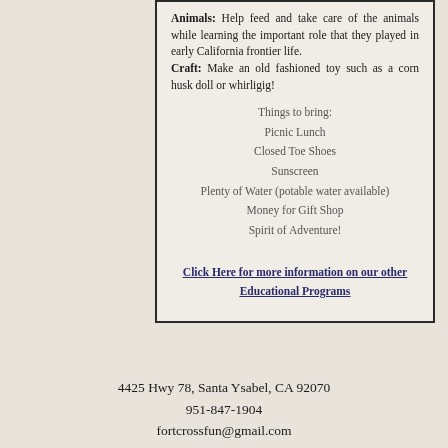Animals: Help feed and take care of the animals while learning the important role that they played in early California frontier life. Craft: Make an old fashioned toy such as a corn husk doll or whirligig!
Things to bring:
Picnic Lunch
Closed Toe Shoes
Sunscreen
Plenty of Water (potable water available)
Money for Gift Shop
Spirit of Adventure!
Click Here for more information on our other Educational Programs
4425 Hwy 78, Santa Ysabel, CA 92070
951-847-1904
fortcrossfun@gmail.com